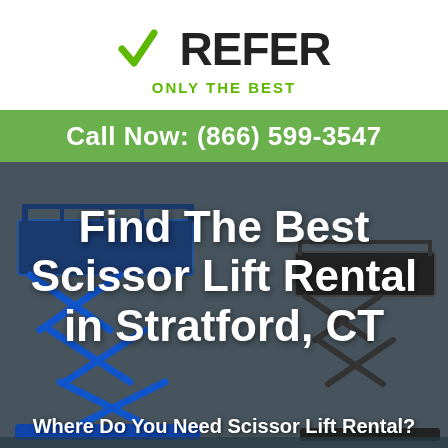[Figure (logo): XRefer logo with green checkmark X and black REFER text, tagline ONLY THE BEST in green]
Call Now: (866) 599-3547
[Figure (photo): Scissor lift equipment photo with dark overlay showing multiple blue scissor lifts against grey sky]
Find The Best Scissor Lift Rental in Stratford, CT
Where Do You Need Scissor Lift Rental?